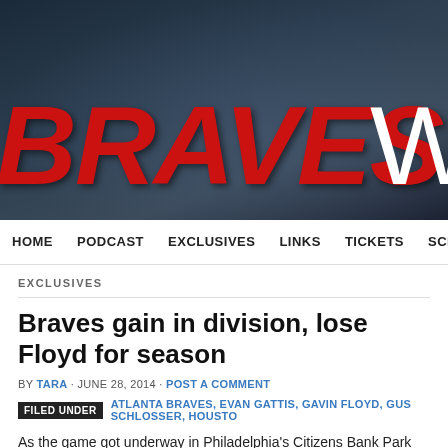[Figure (illustration): Website header banner with dark blue-grey gradient background showing the word BRAVES in large bold red italic letters and W in white, for 'Braves Wire' or similar sports blog]
HOME   PODCAST   EXCLUSIVES   LINKS   TICKETS   SCHEDUL
EXCLUSIVES
Braves gain in division, lose Floyd for season
BY TARA · JUNE 28, 2014 · POST A COMMENT
FILED UNDER   ATLANTA BRAVES, EVAN GATTIS, GAVIN FLOYD, GUS SCHLOSSER, HOUSTO
As the game got underway in Philadelphia's Citizens Bank Park tonight, the Bra had dropped 3 straight games. This brought Atlanta within a half game of Washin By game's end, the Braves were tied once again for first place in the division